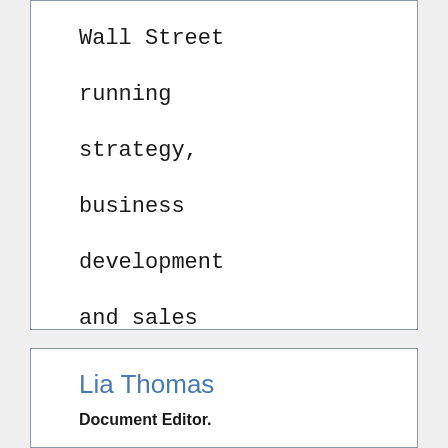Wall Street running strategy, business development and sales for Tradeweb, an electronic trading firm's retail arm.
Lia Thomas
Document Editor.